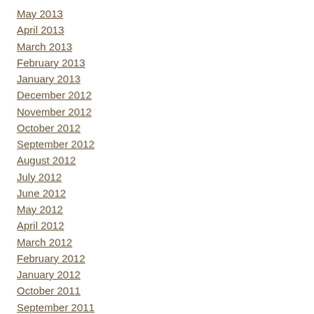May 2013
April 2013
March 2013
February 2013
January 2013
December 2012
November 2012
October 2012
September 2012
August 2012
July 2012
June 2012
May 2012
April 2012
March 2012
February 2012
January 2012
October 2011
September 2011